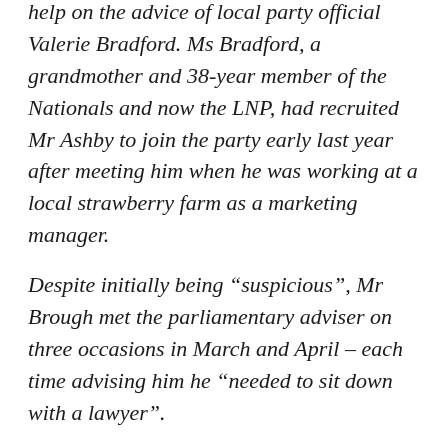help on the advice of local party official Valerie Bradford. Ms Bradford, a grandmother and 38-year member of the Nationals and now the LNP, had recruited Mr Ashby to join the party early last year after meeting him when he was working at a local strawberry farm as a marketing manager.
Despite initially being “suspicious”, Mr Brough met the parliamentary adviser on three occasions in March and April – each time advising him he “needed to sit down with a lawyer”.
“I said to him that my strong view was that you need to make sure you are on extremely strong ground because the media, the government and Mr Slipper will tear you apart,” Mr Brough said